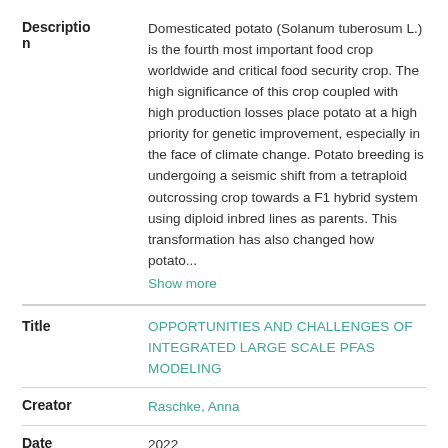Description: Domesticated potato (Solanum tuberosum L.) is the fourth most important food crop worldwide and critical food security crop. The high significance of this crop coupled with high production losses place potato at a high priority for genetic improvement, especially in the face of climate change. Potato breeding is undergoing a seismic shift from a tetraploid outcrossing crop towards a F1 hybrid system using diploid inbred lines as parents. This transformation has also changed how potato... Show more
Title: OPPORTUNITIES AND CHALLENGES OF INTEGRATED LARGE SCALE PFAS MODELING
Creator: Raschke, Anna
Date: 2022